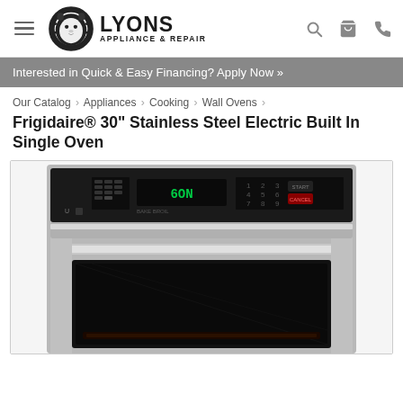LYONS APPLIANCE & REPAIR
Interested in Quick & Easy Financing? Apply Now »
Our Catalog › Appliances › Cooking › Wall Ovens ›
Frigidaire® 30" Stainless Steel Electric Built In Single Oven
[Figure (photo): Frigidaire stainless steel 30-inch electric built-in single wall oven, showing the control panel with digital display and keypad at top, and the large oven door with glass window below.]